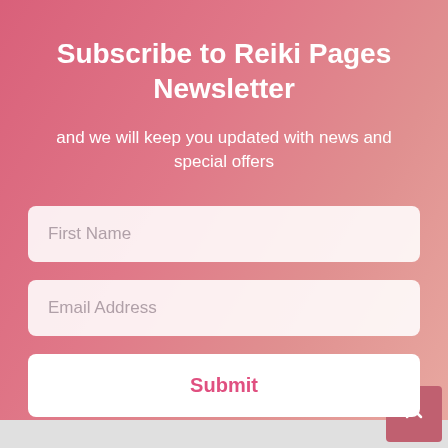Subscribe to Reiki Pages Newsletter
and we will keep you updated with news and special offers
First Name
Email Address
Submit